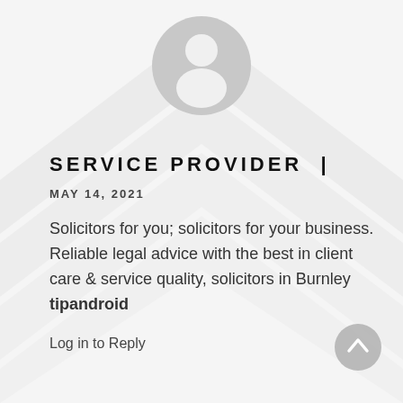[Figure (illustration): Grey circular avatar/profile icon with person silhouette, centered at top of page]
SERVICE PROVIDER |
MAY 14, 2021
Solicitors for you; solicitors for your business. Reliable legal advice with the best in client care & service quality, solicitors in Burnley tipandroid
Log in to Reply